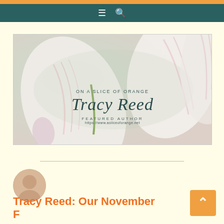Navigation bar with menu and search icons
[Figure (illustration): Featured author banner image with tulip flowers background. Text overlay reads: ON A SLICE OF ORANGE / Tracy Reed / FEATURED AUTHOR / https://www.asliceoforange.net]
Tracy Reed: Our November Featured Author